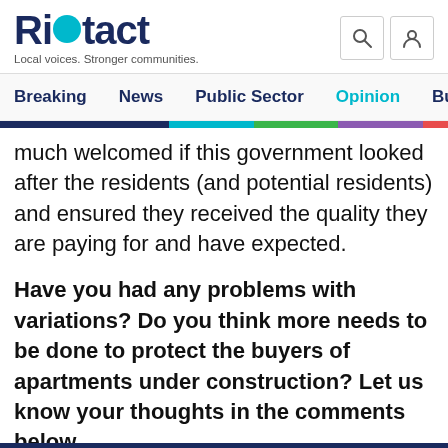Riotact — Local voices. Stronger communities.
Breaking  News  Public Sector  Opinion  Business
much welcomed if this government looked after the residents (and potential residents) and ensured they received the quality they are paying for and have expected.
Have you had any problems with variations? Do you think more needs to be done to protect the buyers of apartments under construction? Let us know your thoughts in the comments below.